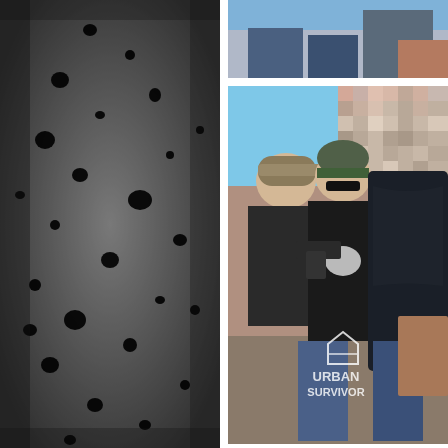[Figure (photo): Black and white close-up photo of bullet-riddled target or surface with multiple dark holes scattered across a dark textured background.]
[Figure (photo): Top portion of a photo showing people in jeans and casual clothing from waist down, cropped at top of page.]
[Figure (photo): Outdoor photo of two men at a shooting range. One man wears a green beanie hat and sunglasses with a black jacket holding a pistol. Another man in a baseball cap is beside him. The upper right corner has a pixelated/blurred area covering someone's face. A watermark reads 'URBAN SURVIVOR' with a house/shield logo.]